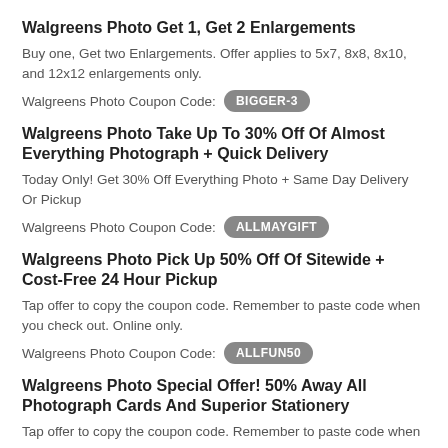Walgreens Photo Get 1, Get 2 Enlargements
Buy one, Get two Enlargements. Offer applies to 5x7, 8x8, 8x10, and 12x12 enlargements only.
Walgreens Photo Coupon Code: BIGGER-3
Walgreens Photo Take Up To 30% Off Of Almost Everything Photograph + Quick Delivery
Today Only! Get 30% Off Everything Photo + Same Day Delivery Or Pickup
Walgreens Photo Coupon Code: ALLMAYGIFT
Walgreens Photo Pick Up 50% Off Of Sitewide + Cost-Free 24 Hour Pickup
Tap offer to copy the coupon code. Remember to paste code when you check out. Online only.
Walgreens Photo Coupon Code: ALLFUN50
Walgreens Photo Special Offer! 50% Away All Photograph Cards And Superior Stationery
Tap offer to copy the coupon code. Remember to paste code when